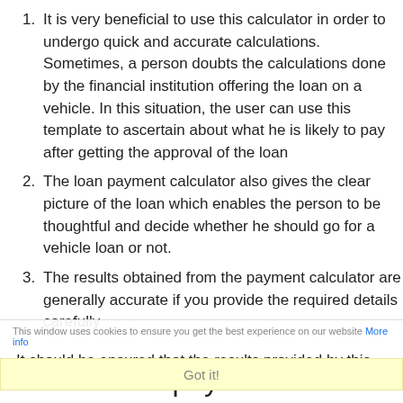It is very beneficial to use this calculator in order to undergo quick and accurate calculations. Sometimes, a person doubts the calculations done by the financial institution offering the loan on a vehicle. In this situation, the user can use this template to ascertain about what he is likely to pay after getting the approval of the loan
The loan payment calculator also gives the clear picture of the loan which enables the person to be thoughtful and decide whether he should go for a vehicle loan or not.
The results obtained from the payment calculator are generally accurate if you provide the required details carefully
It should be ensured that the results provided by this calculator may vary owing to different rules and regulations of different states and institutes.
This window uses cookies to ensure you get the best experience on our website More info
Got it!
Vehicle loan payment calculator